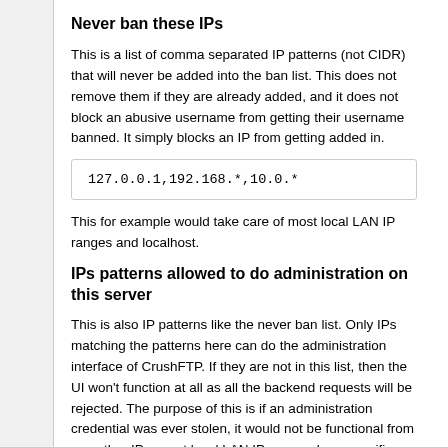Never ban these IPs
This is a list of comma separated IP patterns (not CIDR) that will never be added into the ban list. This does not remove them if they are already added, and it does not block an abusive username from getting their username banned. It simply blocks an IP from getting added in.
127.0.0.1,192.168.*,10.0.*
This for example would take care of most local LAN IP ranges and localhost.
IPs patterns allowed to do administration on this server
This is also IP patterns like the never ban list. Only IPs matching the patterns here can do the administration interface of CrushFTP. If they are not in this list, then the UI won't function at all as all the backend requests will be rejected. The purpose of this is if an administration credential was ever stolen, it would not be functional from any other IP except local LAN IPs or maybe a specific home static IP.